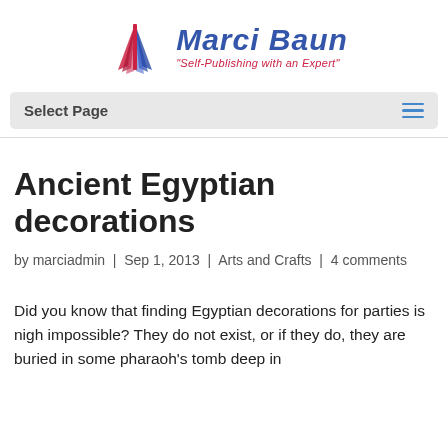[Figure (logo): Marci Baun logo with book icon and tagline 'Self-Publishing with an Expert']
Select Page
Ancient Egyptian decorations
by marciadmin | Sep 1, 2013 | Arts and Crafts | 4 comments
Did you know that finding Egyptian decorations for parties is nigh impossible? They do not exist, or if they do, they are buried in some pharaoh's tomb deep in